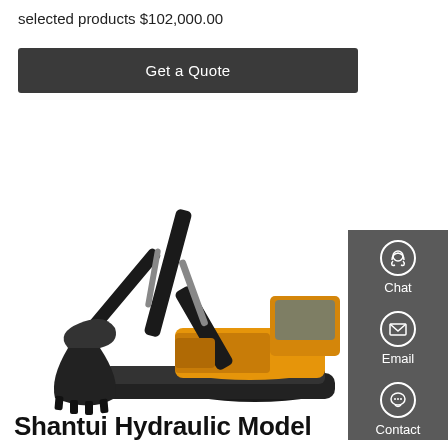selected products $102,000.00
Get a Quote
[Figure (photo): LiuGong yellow hydraulic excavator on white background, full side profile view with arm extended and bucket lowered]
Shantui Hydraulic Model